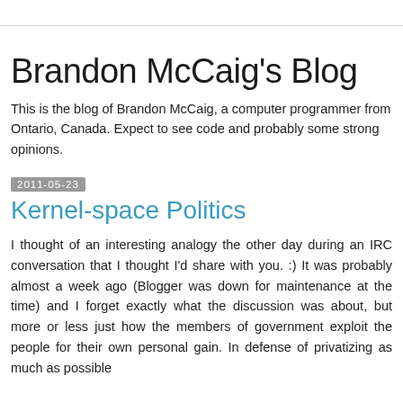Brandon McCaig's Blog
This is the blog of Brandon McCaig, a computer programmer from Ontario, Canada. Expect to see code and probably some strong opinions.
2011-05-23
Kernel-space Politics
I thought of an interesting analogy the other day during an IRC conversation that I thought I'd share with you. :) It was probably almost a week ago (Blogger was down for maintenance at the time) and I forget exactly what the discussion was about, but more or less just how the members of government exploit the people for their own personal gain. In defense of privatizing as much as possible